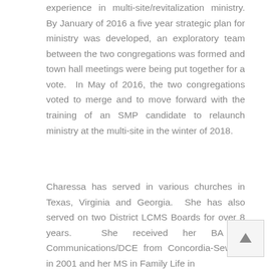experience in multi-site/revitalization ministry. By January of 2016 a five year strategic plan for ministry was developed, an exploratory team between the two congregations was formed and town hall meetings were being put together for a vote.  In May of 2016, the two congregations voted to merge and to move forward with the training of an SMP candidate to relaunch ministry at the multi-site in the winter of 2018.
Charessa has served in various churches in Texas, Virginia and Georgia.  She has also served on two District LCMS Boards for over 8 years.  She received her BA in Communications/DCE from Concordia-Seward in 2001 and her MS in Family Life in